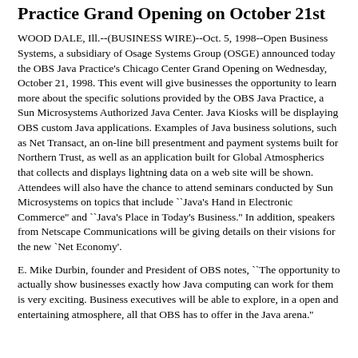Practice Grand Opening on October 21st
WOOD DALE, Ill.--(BUSINESS WIRE)--Oct. 5, 1998--Open Business Systems, a subsidiary of Osage Systems Group (OSGE) announced today the OBS Java Practice's Chicago Center Grand Opening on Wednesday, October 21, 1998. This event will give businesses the opportunity to learn more about the specific solutions provided by the OBS Java Practice, a Sun Microsystems Authorized Java Center. Java Kiosks will be displaying OBS custom Java applications. Examples of Java business solutions, such as Net Transact, an on-line bill presentment and payment systems built for Northern Trust, as well as an application built for Global Atmospherics that collects and displays lightning data on a web site will be shown. Attendees will also have the chance to attend seminars conducted by Sun Microsystems on topics that include ``Java's Hand in Electronic Commerce'' and ``Java's Place in Today's Business.'' In addition, speakers from Netscape Communications will be giving details on their visions for the new `Net Economy'.
E. Mike Durbin, founder and President of OBS notes, ``The opportunity to actually show businesses exactly how Java computing can work for them is very exciting. Business executives will be able to explore, in a open and entertaining atmosphere, all that OBS has to offer in the Java arena."